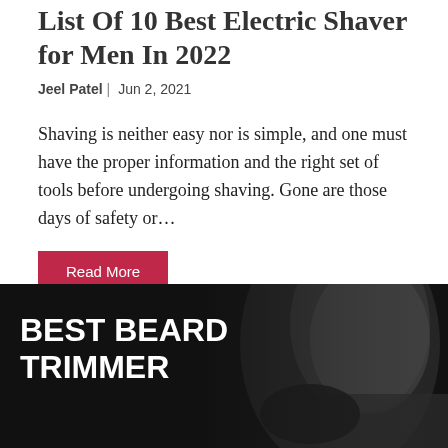List Of 10 Best Electric Shaver for Men In 2022
Jeel Patel | Jun 2, 2021
Shaving is neither easy nor is simple, and one must have the proper information and the right set of tools before undergoing shaving. Gone are those days of safety or...
Read More
[Figure (photo): Black and white photo of a man with a beard against a dark background, with overlaid text reading BEST BEARD TRIMMER]